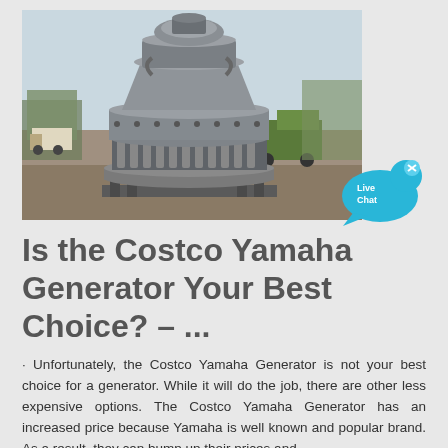[Figure (photo): Large industrial cone crusher machine photographed outdoors in a yard, painted grey, with coiled springs visible around its body. Construction equipment and trees visible in background.]
[Figure (infographic): Live Chat bubble icon — cyan/blue speech bubble with 'Live Chat' text and an 'x' close button in the upper right corner.]
Is the Costco Yamaha Generator Your Best Choice? – ...
· Unfortunately, the Costco Yamaha Generator is not your best choice for a generator. While it will do the job, there are other less expensive options. The Costco Yamaha Generator has an increased price because Yamaha is well known and popular brand. As a result, they can bump up their prices and